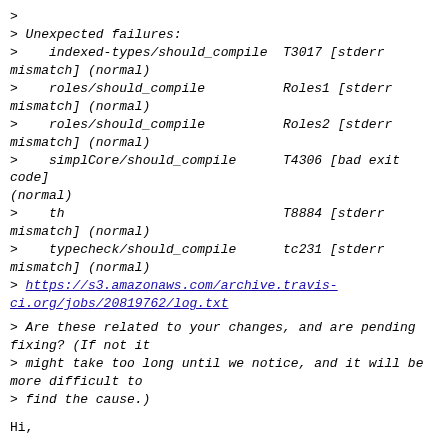>
> Unexpected failures:
>    indexed-types/should_compile  T3017 [stderr mismatch] (normal)
>    roles/should_compile          Roles1 [stderr mismatch] (normal)
>    roles/should_compile          Roles2 [stderr mismatch] (normal)
>    simplCore/should_compile      T4306 [bad exit code] (normal)
>    th                            T8884 [stderr mismatch] (normal)
>    typecheck/should_compile      tc231 [stderr mismatch] (normal)
> https://s3.amazonaws.com/archive.travis-ci.org/jobs/20819762/log.txt
> Are these related to your changes, and are pending fixing? (If not it
> might take too long until we notice, and it will be more difficult to
> find the cause.)
Hi,
Yes, these are related. However, they all point to just a change in the
output format of -ddump-types so that by default, foralls are not printed.
The old output format can be restored by passing in an